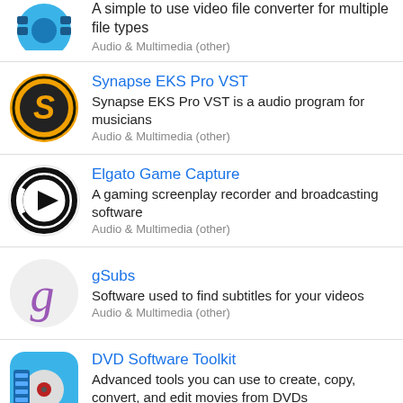A simple to use video file converter for multiple file types
Audio & Multimedia (other)
Synapse EKS Pro VST
Synapse EKS Pro VST is a audio program for musicians
Audio & Multimedia (other)
Elgato Game Capture
A gaming screenplay recorder and broadcasting software
Audio & Multimedia (other)
gSubs
Software used to find subtitles for your videos
Audio & Multimedia (other)
DVD Software Toolkit
Advanced tools you can use to create, copy, convert, and edit movies from DVDs
Video Tools
MetaX
Tag moving picture films and movies